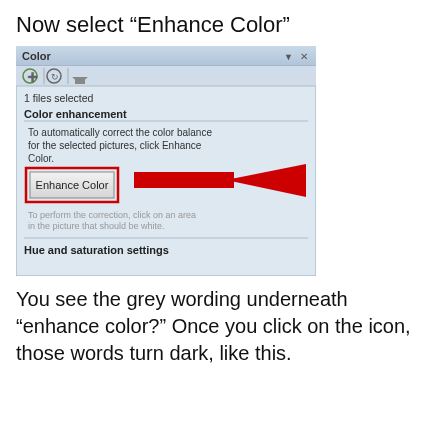Now select “Enhance Color”
[Figure (screenshot): Screenshot of a photo editing application's Color panel showing 'Color enhancement' section with an 'Enhance Color' button highlighted by a red border and a large red arrow pointing to it. Below the button is greyed-out text: 'To perform the correction, click on an area in the picture that should be white.' At the bottom is 'Hue and saturation settings'.]
You see the grey wording underneath “enhance color?”  Once you click on the icon, those words turn dark, like this.